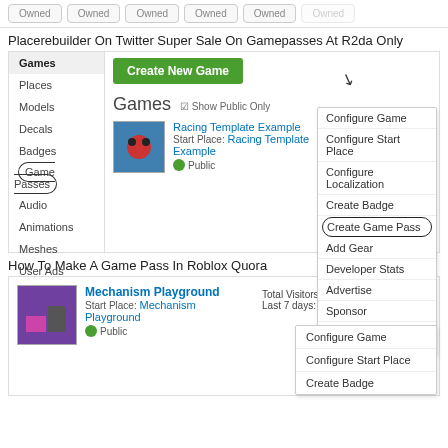[Figure (screenshot): Top row of 'Owned' buttons from a game platform UI]
Placerebuilder On Twitter Super Sale On Gamepasses At R2da Only
[Figure (screenshot): Roblox developer page screenshot showing Games sidebar navigation with Game Passes circled, Create New Game button, Racing Template Example game entry, and dropdown menu with Create Game Pass circled]
How To Make A Game Pass In Roblox Quora
[Figure (screenshot): Roblox developer page screenshot showing Mechanism Playground game entry with Total Visitors: 0, Last 7 days: 0, Edit button, gear button circled in red, and dropdown menu with Configure Game, Configure Start Place, Create Badge]